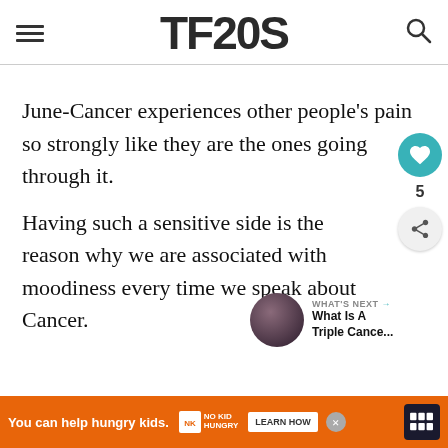TF20S
June-Cancer experiences other people's pain so strongly like they are the ones going through it.
Having such a sensitive side is the reason why we are associated with moodiness every time we speak about Cancer.
If other Cancers tend to be moody and change mood so fast, just imagine how increased this is in
[Figure (other): What's Next widget showing a circular thumbnail of a dark purple planet/sphere with text 'What Is A Triple Cance...']
[Figure (other): Advertisement banner: orange background with text 'You can help hungry kids.' No Kid Hungry logo and LEARN HOW button]